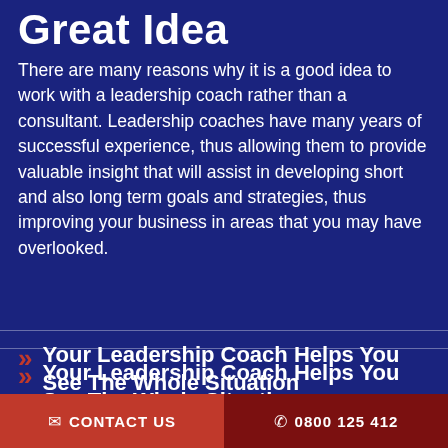Great Idea
There are many reasons why it is a good idea to work with a leadership coach rather than a consultant. Leadership coaches have many years of successful experience, thus allowing them to provide valuable insight that will assist in developing short and also long term goals and strategies, thus improving your business in areas that you may have overlooked.
Your Leadership Coach Helps You See The Whole Situation
A Leadership Coaches Can Keep You Focused On The End Game
CONTACT US  |  0800 125 412